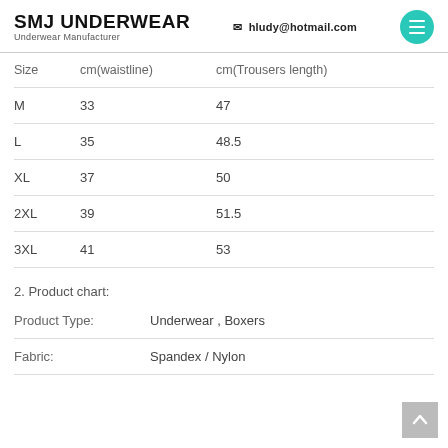SMJ UNDERWEAR Underwear Manufacturer | hludy@hotmail.com
| Size | cm(waistline) | cm(Trousers length) |
| --- | --- | --- |
| M | 33 | 47 |
| L | 35 | 48.5 |
| XL | 37 | 50 |
| 2XL | 39 | 51.5 |
| 3XL | 41 | 53 |
2. Product chart:
|  |  |
| --- | --- |
| Product Type: | Underwear , Boxers |
| Fabric: | Spandex / Nylon |